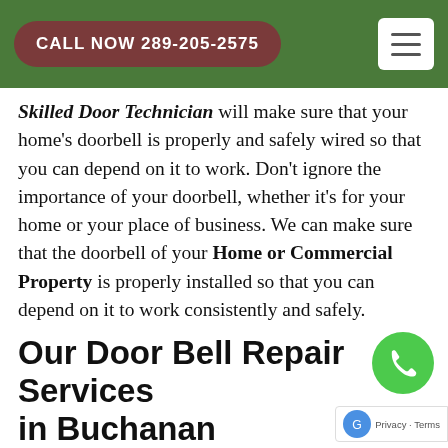CALL NOW 289-205-2575
Skilled Door Technician will make sure that your home's doorbell is properly and safely wired so that you can depend on it to work. Don't ignore the importance of your doorbell, whether it's for your home or your place of business. We can make sure that the doorbell of your Home or Commercial Property is properly installed so that you can depend on it to work consistently and safely.
Our Door Bell Repair Services in Buchanan
At Door Repair Buchanan we have over years of experience helping homeowners businesses in Buchanan with their Doorbell Installation and wiring needs. Our skilled